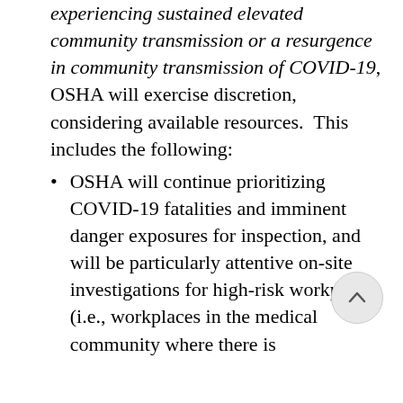experiencing sustained elevated community transmission or a resurgence in community transmission of COVID-19, OSHA will exercise discretion, considering available resources.  This includes the following:
OSHA will continue prioritizing COVID-19 fatalities and imminent danger exposures for inspection, and will be particularly attentive on-site investigations for high-risk workplaces (i.e., workplaces in the medical community where there is